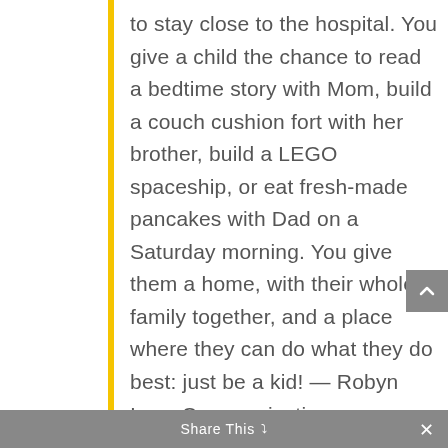to stay close to the hospital. You give a child the chance to read a bedtime story with Mom, build a couch cushion fort with her brother, build a LEGO spaceship, or eat fresh-made pancakes with Dad on a Saturday morning. You give them a home, with their whole family together, and a place where they can do what they do best: just be a kid! — Robyn Ives, Communications Coordinator
Share This ∨  ×